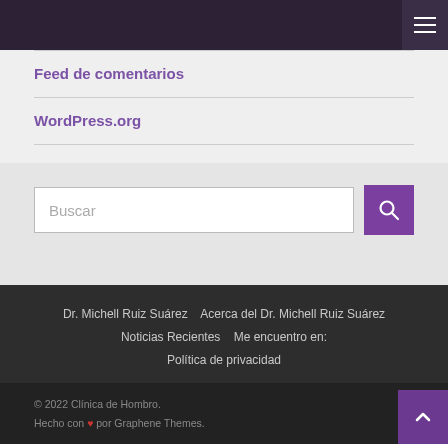Feed de comentarios
WordPress.org
Buscar
Dr. Michell Ruiz Suárez   Acerca del Dr. Michell Ruiz Suárez   Noticias Recientes   Me encuentro en:   Política de privacidad
© 2022 Clínica de Hombro. Hecho con ❤ por Graphene Themes.